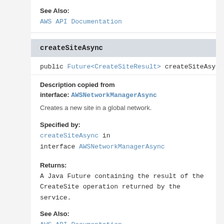See Also:
AWS API Documentation
createSiteAsync
public Future<CreateSiteResult> createSiteAsync(C
Description copied from interface: AWSNetworkManagerAsync
Creates a new site in a global network.
Specified by:
createSiteAsync in interface AWSNetworkManagerAsync
Returns:
A Java Future containing the result of the CreateSite operation returned by the service.
See Also:
AWS API Documentation